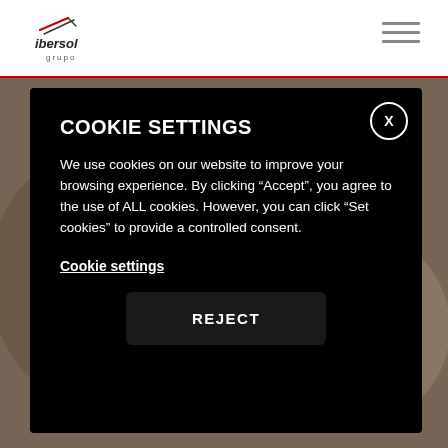[Figure (logo): Ibersol Grupo logo — stylized italic lines above the text 'ibersol grupo']
[Figure (other): Hamburger menu icon with three horizontal lines in top-right corner]
[Figure (photo): Background food/restaurant photo, blurred behind modal overlay]
COOKIE SETTINGS
We use cookies on our website to improve your browsing experience. By clicking “Accept”, you agree to the use of ALL cookies. However, you can click "Set cookies" to provide a controlled consent.
Cookie settings
REJECT